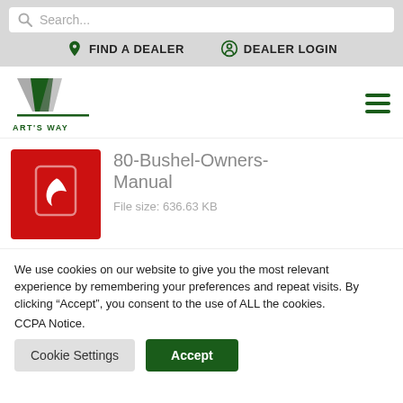Search...
FIND A DEALER  DEALER LOGIN
[Figure (logo): Art's Way logo with stylized AW letters in green and gray, with text ART'S WAY below]
80-Bushel-Owners-Manual
File size: 636.63 KB
We use cookies on our website to give you the most relevant experience by remembering your preferences and repeat visits. By clicking “Accept”, you consent to the use of ALL the cookies. CCPA Notice.
Cookie Settings  Accept